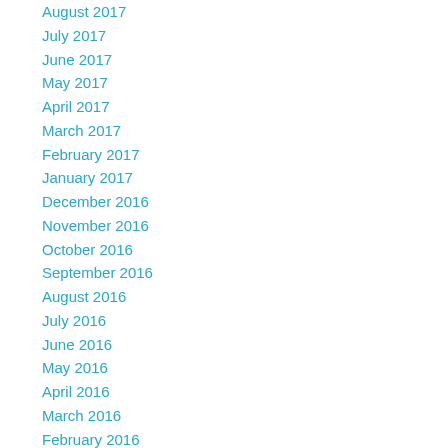August 2017
July 2017
June 2017
May 2017
April 2017
March 2017
February 2017
January 2017
December 2016
November 2016
October 2016
September 2016
August 2016
July 2016
June 2016
May 2016
April 2016
March 2016
February 2016
January 2016
December 2015
November 2015
October 2015
September 2015
August 2015
July 2015